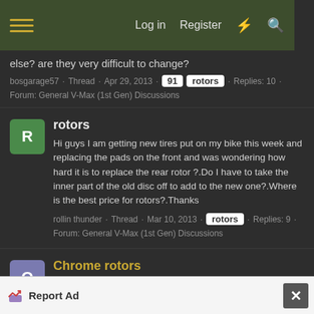Log in  Register
else? are they very difficult to change?
bosgarage57 · Thread · Apr 29, 2013 · 91 · rotors · Replies: 10 · Forum: General V-Max (1st Gen) Discussions
rotors
Hi guys I am getting new tires put on my bike this week and replacing the pads on the front and was wondering how hard it is to replace the rear rotor ?.Do I have to take the inner part of the old disc off to add to the new one?.Where is the best price for rotors?.Thanks
rollin thunder · Thread · Mar 10, 2013 · rotors · Replies: 9 · Forum: General V-Max (1st Gen) Discussions
Chrome rotors
Found some R1 rotors fully chromed and am looking for
Report Ad